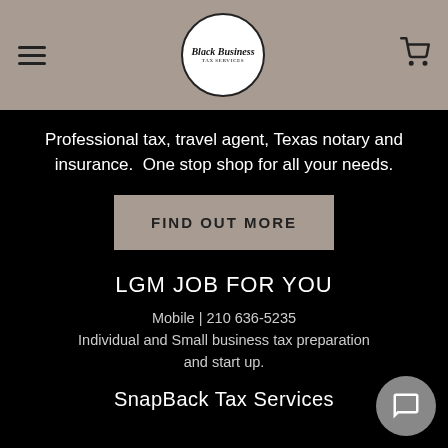[Figure (logo): Black Business logo in circular badge with hamburger menu and cart icon in taupe/grey header bar]
Professional tax, travel agent, Texas notary and insurance.  One stop shop for all your needs.
FIND OUT MORE
LGM JOB FOR YOU
Mobile | 210 636-5235
Individual and Small business tax preparation and start up.
SnapBack Tax Services